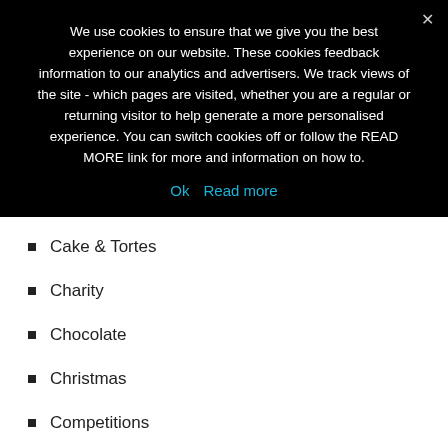We use cookies to ensure that we give you the best experience on our website. These cookies feedback information to our analytics and advertisers. We track views of the site - which pages are visited, whether you are a regular or returning visitor to help generate a more personalised experience. You can switch cookies off or follow the READ MORE link for more and information on how to.
Ok   Read more
Cake & Tortes
Charity
Chocolate
Christmas
Competitions
Cookies
Cooking
Cooking with Kids
Crafts
Crock Pot Recipes